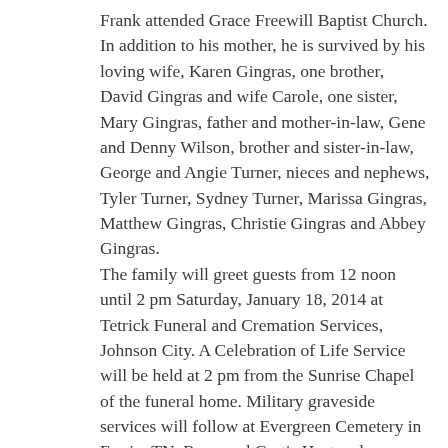Frank attended Grace Freewill Baptist Church. In addition to his mother, he is survived by his loving wife, Karen Gingras, one brother, David Gingras and wife Carole, one sister, Mary Gingras, father and mother-in-law, Gene and Denny Wilson, brother and sister-in-law, George and Angie Turner, nieces and nephews, Tyler Turner, Sydney Turner, Marissa Gingras, Matthew Gingras, Christie Gingras and Abbey Gingras.
The family will greet guests from 12 noon until 2 pm Saturday, January 18, 2014 at Tetrick Funeral and Cremation Services, Johnson City. A Celebration of Life Service will be held at 2 pm from the Sunrise Chapel of the funeral home. Military graveside services will follow at Evergreen Cemetery in Erwin, TN. Reverend Curtis Hurt and Reverend Roger Laws will officiate. Pallbearers will be David Gingras, George Turner, Tyler Turner, Johnathan Kinnick, Josh McGuire and Tyler McEwen. The family wishes to